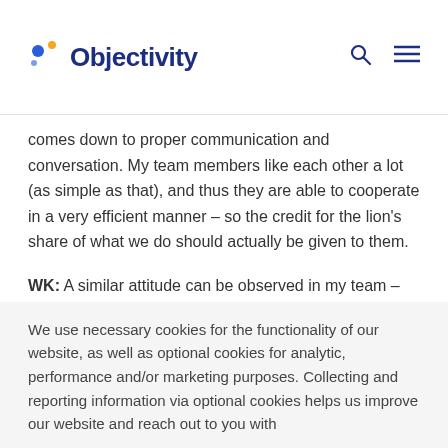Objectivity
comes down to proper communication and conversation. My team members like each other a lot (as simple as that), and thus they are able to cooperate in a very efficient manner – so the credit for the lion's share of what we do should actually be given to them.
WK: A similar attitude can be observed in my team – there is a laid-back atmosphere of friendly "mocking" and irony, but it is all linked to professionalism. An
We use necessary cookies for the functionality of our website, as well as optional cookies for analytic, performance and/or marketing purposes. Collecting and reporting information via optional cookies helps us improve our website and reach out to you with